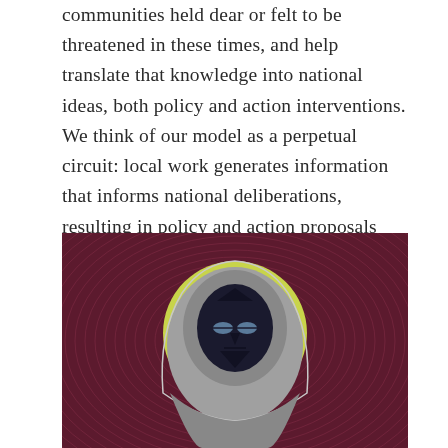communities held dear or felt to be threatened in these times, and help translate that knowledge into national ideas, both policy and action interventions. We think of our model as a perpetual circuit: local work generates information that informs national deliberations, resulting in policy and action proposals that can be tested at the local level, yielding experience that refines the national perspective, improving community work—and so on.
[Figure (illustration): Stylized illustration of a dark hooded figure with an abstract, geometric face featuring blue eyes, set against a yellow-green circular halo, all on a deep maroon/purple background with concentric radiating lines emanating outward.]